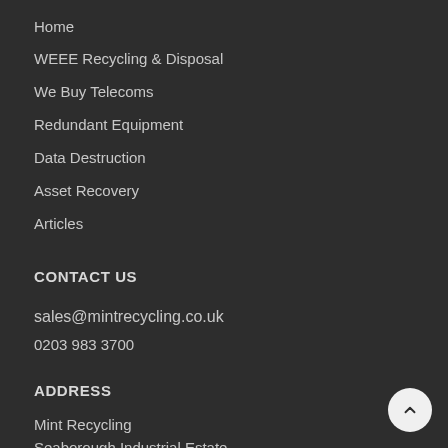Home
WEEE Recycling & Disposal
We Buy Telecoms
Redundant Equipment
Data Destruction
Asset Recovery
Articles
CONTACT US
sales@mintrecycling.co.uk
0203 983 3700
ADDRESS
Mint Recycling
Seaborough Industrial Estate